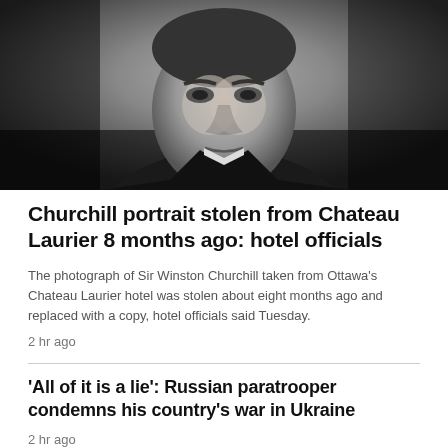[Figure (photo): Black and white photograph of Sir Winston Churchill, showing a stern-looking elderly man in dark formal attire with a bow tie, photographed from the chest up.]
Churchill portrait stolen from Chateau Laurier 8 months ago: hotel officials
The photograph of Sir Winston Churchill taken from Ottawa's Chateau Laurier hotel was stolen about eight months ago and replaced with a copy, hotel officials said Tuesday.
2 hr ago
'All of it is a lie': Russian paratrooper condemns his country's war in Ukraine
2 hr ago